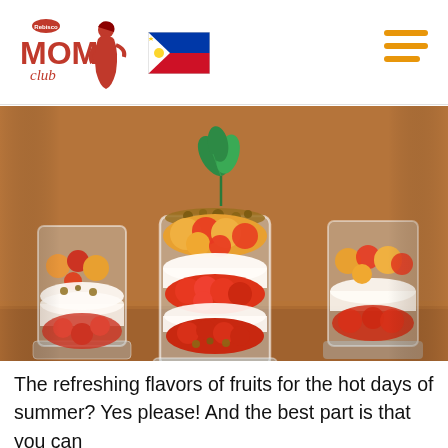[Figure (logo): Rebisco Mom Club logo in orange/red with a woman silhouette illustration]
[Figure (illustration): Philippine flag icon]
[Figure (other): Orange hamburger menu icon (three horizontal lines)]
[Figure (photo): Photo of three glass cups filled with layered yogurt parfait with strawberries, mango chunks, granola, and mint leaves on a wooden board]
The refreshing flavors of fruits for the hot days of summer? Yes please! And the best part is that you can